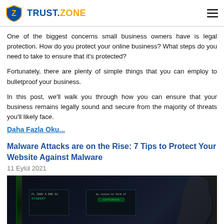TRUST.ZONE
One of the biggest concerns small business owners have is legal protection. How do you protect your online business? What steps do you need to take to ensure that it's protected?
Fortunately, there are plenty of simple things that you can employ to bulletproof your business.
In this post, we'll walk you through how you can ensure that your business remains legally sound and secure from the majority of threats you'll likely face.
Daha Fazla Oku...
Malware Attacks are on the Rise: 7 Tips to Protect Your Website Against Malware
11 Eylül 2021
[Figure (photo): Dark image showing computer screens with code/text in a dimly lit environment, with a silhouette of a person on the right side]